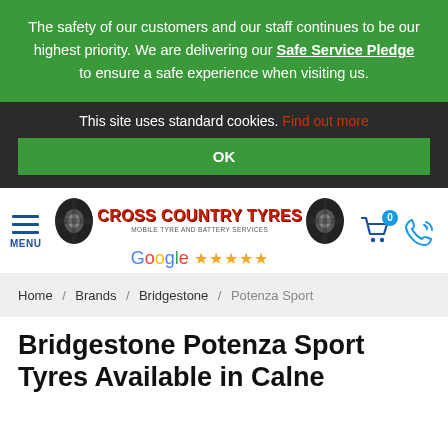The safety of our customers and our staff continues to be our highest priority. We are delivering our Safe Service Pledge to ensure a safe experience when visiting us.
This site uses standard cookies. Find out more
OK
[Figure (logo): Cross Country Tyres logo with tractor tyre images and Google 5-star rating]
Home / Brands / Bridgestone / Potenza Sport
Bridgestone Potenza Sport Tyres Available in Calne